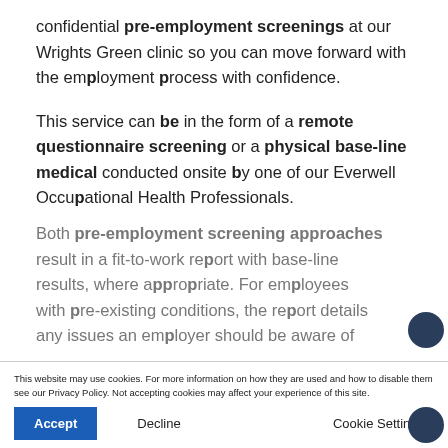confidential pre-employment screenings at our Wrights Green clinic so you can move forward with the employment process with confidence.
This service can be in the form of a remote questionnaire screening or a physical base-line medical conducted onsite by one of our Everwell Occupational Health Professionals.
Both pre-employment screening approaches result in a fit-to-work report with base-line results, where appropriate. For employees with pre-existing conditions, the report details any issues an employer should be aware of and any reasonable adjustments that may be
This website may use cookies. For more information on how they are used and how to disable them see our Privacy Policy. Not accepting cookies may affect your experience of this site.
Accept   Decline   Cookie Settings